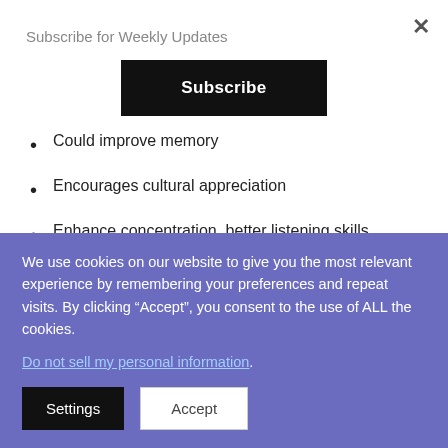Subscribe for Weekly Updates
Subscribe
Could improve memory
Encourages cultural appreciation
Enhance concentration, better listening skills, increases the ability to multi-task
Boost your confidence
We use cookies on our website to give you the most relevant experience by remembering your preferences and repeat visits. By clicking “Accept”, you consent to the use of ALL the cookies. Do not sell my personal information.
Settings
Accept